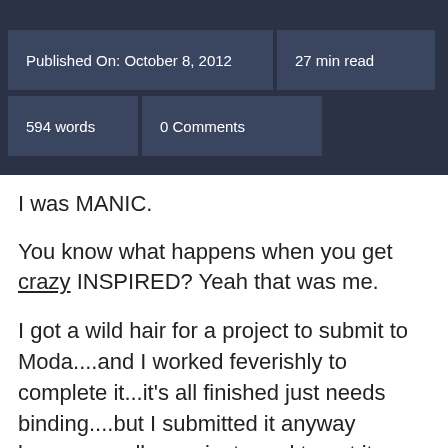Published On: October 8, 2012 | 27 min read | 594 words | 0 Comments
I was MANIC.
You know what happens when you get crazy INSPIRED? Yeah that was me.
I got a wild hair for a project to submit to Moda....and I worked feverishly to complete it...it's all finished just needs binding....but I submitted it anyway because well...you just need to get it appoved and then you have to make it again in